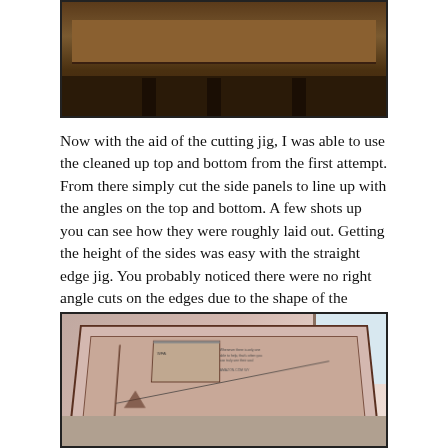[Figure (photo): Photo of a wooden table or furniture piece with dark legs on a hardwood floor, viewed from an angle showing the underside.]
Now with the aid of the cutting jig, I was able to use the cleaned up top and bottom from the first attempt. From there simply cut the side panels to line up with the angles on the top and bottom. A few shots up you can see how they were roughly laid out. Getting the height of the sides was easy with the straight edge jig. You probably noticed there were no right angle cuts on the edges due to the shape of the coffin.
[Figure (photo): Photo of a cardboard coffin-shaped box being constructed, showing the interior with side panels assembled and visible printed text on the cardboard pieces.]